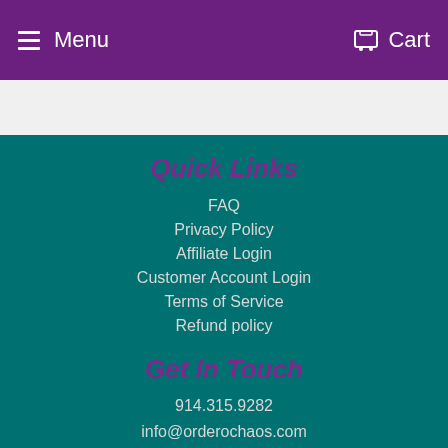Menu  Cart
Quick Links
FAQ
Privacy Policy
Affiliate Login
Customer Account Login
Terms of Service
Refund policy
Get In Touch
914.315.9282
info@orderochaos.com